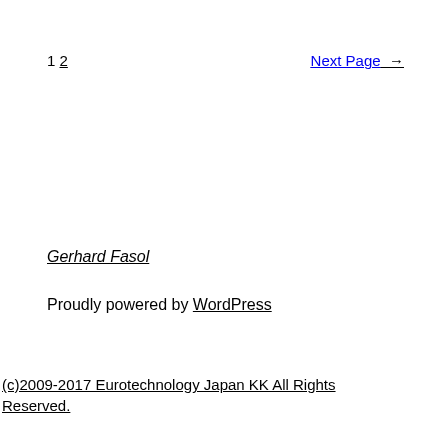1 2    Next Page →
Gerhard Fasol
Proudly powered by WordPress
(c)2009-2017 Eurotechnology Japan KK All Rights Reserved.